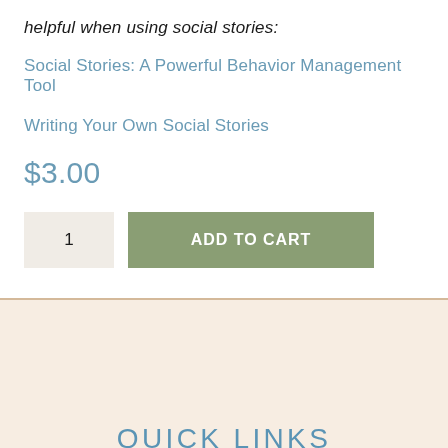helpful when using social stories:
Social Stories: A Powerful Behavior Management Tool
Writing Your Own Social Stories
$3.00
1  ADD TO CART
QUICK LINKS